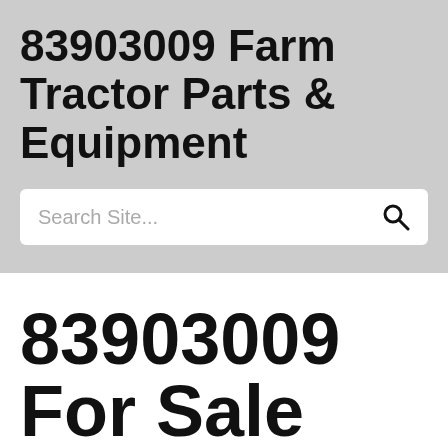83903009 Farm Tractor Parts & Equipment
[Figure (screenshot): Search bar with placeholder text 'Search Site...' and a search icon on the right]
83903009
For Sale